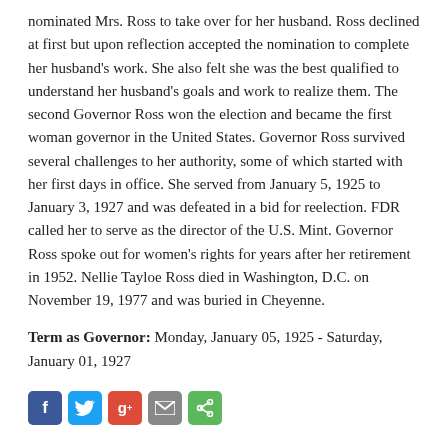nominated Mrs. Ross to take over for her husband. Ross declined at first but upon reflection accepted the nomination to complete her husband's work. She also felt she was the best qualified to understand her husband's goals and work to realize them. The second Governor Ross won the election and became the first woman governor in the United States. Governor Ross survived several challenges to her authority, some of which started with her first days in office. She served from January 5, 1925 to January 3, 1927 and was defeated in a bid for reelection. FDR called her to serve as the director of the U.S. Mint. Governor Ross spoke out for women's rights for years after her retirement in 1952. Nellie Tayloe Ross died in Washington, D.C. on November 19, 1977 and was buried in Cheyenne.
Term as Governor: Monday, January 05, 1925 - Saturday, January 01, 1927
[Figure (other): Social media sharing icons: Facebook, Twitter, Google+, Email, Share]
About the Author
The Wyoming State Archives collection your source and discover more...